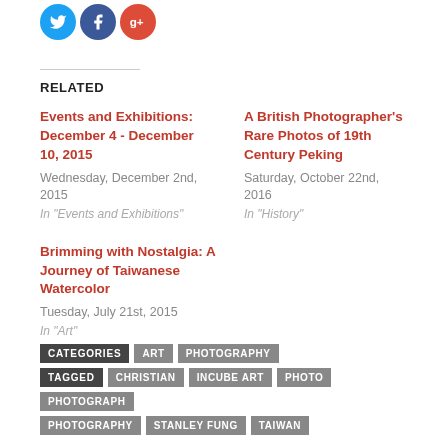[Figure (other): Social media share icons: Twitter (blue bird), Facebook (blue f), Google+ (red g+)]
RELATED
Events and Exhibitions: December 4 - December 10, 2015
Wednesday, December 2nd, 2015
In "Events and Exhibitions"
A British Photographer's Rare Photos of 19th Century Peking
Saturday, October 22nd, 2016
In "History"
Brimming with Nostalgia: A Journey of Taiwanese Watercolor
Tuesday, July 21st, 2015
In "Art"
CATEGORIES  ART  PHOTOGRAPHY
TAGGED  CHRISTIAN  INCUBE ART  PHOTO  PHOTOGRAPH  PHOTOGRAPHY  STANLEY FUNG  TAIWAN